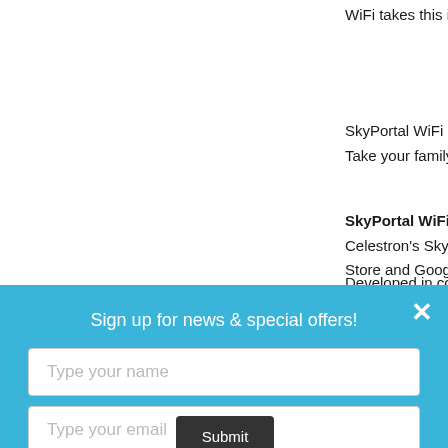WiFi takes this informatio
SkyPortal WiFi makes a g
Take your family on a gui
SkyPortal WiFi Module,
Celestron's SkyPortal Wi
Store and Google Play, S
Developed in collaboratio
Sign up for news & special offers!
Type your name
Type your email
Submit